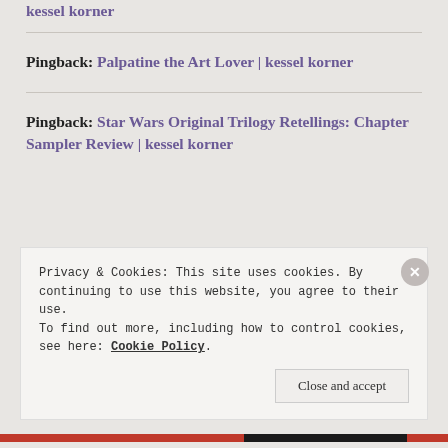kessel korner
Pingback: Palpatine the Art Lover | kessel korner
Pingback: Star Wars Original Trilogy Retellings: Chapter Sampler Review | kessel korner
Privacy & Cookies: This site uses cookies. By continuing to use this website, you agree to their use. To find out more, including how to control cookies, see here: Cookie Policy
Close and accept